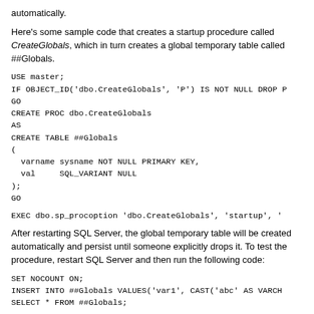automatically.
Here's some sample code that creates a startup procedure called CreateGlobals, which in turn creates a global temporary table called ##Globals.
USE master;
IF OBJECT_ID('dbo.CreateGlobals', 'P') IS NOT NULL DROP P
GO
CREATE PROC dbo.CreateGlobals
AS
CREATE TABLE ##Globals
(
  varname sysname NOT NULL PRIMARY KEY,
  val     SQL_VARIANT NULL
);
GO
EXEC dbo.sp_procoption 'dbo.CreateGlobals', 'startup', '
After restarting SQL Server, the global temporary table will be created automatically and persist until someone explicitly drops it. To test the procedure, restart SQL Server and then run the following code:
SET NOCOUNT ON;
INSERT INTO ##Globals VALUES('var1', CAST('abc' AS VARCH
SELECT * FROM ##Globals;
You probably guessed already that ##Globals is a shared global